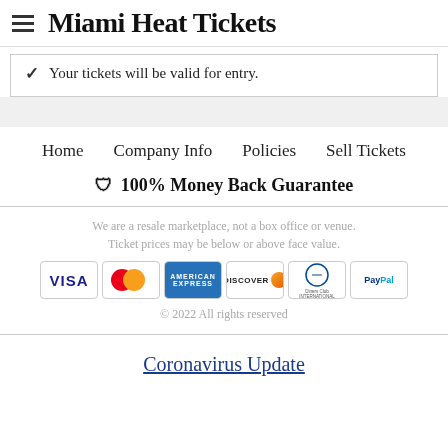Miami Heat Tickets
Your tickets will be valid for entry.
Home   Company Info   Policies   Sell Tickets
🛡 100% Money Back Guarantee
We are a resale marketplace, not a box office or venue. Ticket prices may be below or above face value.
[Figure (other): Payment method icons: VISA, MasterCard, American Express, Discover, Diners Club International, PayPal]
© 2022 All rights reserved
Coronavirus Update